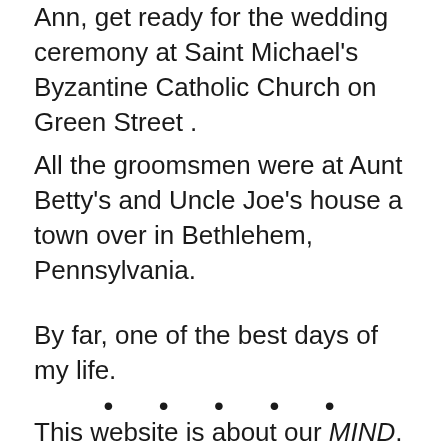morning long – helping their daughter, Sherry Ann, get ready for the wedding ceremony at Saint Michael's Byzantine Catholic Church on Green Street .
All the groomsmen were at Aunt Betty's and Uncle Joe's house a town over in Bethlehem, Pennsylvania.
By far, one of the best days of my life.
• • • • •
This website is about our MIND. To read